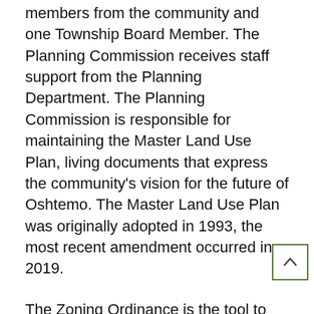members from the community and one Township Board Member. The Planning Commission receives staff support from the Planning Department. The Planning Commission is responsible for maintaining the Master Land Use Plan, living documents that express the community's vision for the future of Oshtemo. The Master Land Use Plan was originally adopted in 1993, the most recent amendment occurred in 2019.
The Zoning Ordinance is the tool to implement the Master Land Use Plan. Accordingly, all land use proposals and rezoning requests are reviewed to ensure consistency with both the Zoning Ordinance and the Master Land Use Plan. Occasionally it is appropriate to amend the Master Land Use Plan to ensure that still reflects the type of community